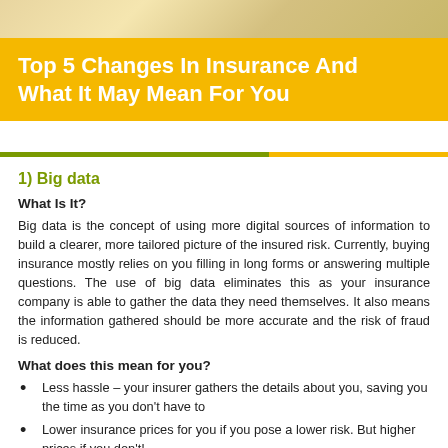[Figure (photo): Decorative image banner at the top of the page with warm yellow/gold tones]
Top 5 Changes In Insurance And What It May Mean For You
1) Big data
What Is It?
Big data is the concept of using more digital sources of information to build a clearer, more tailored picture of the insured risk. Currently, buying insurance mostly relies on you filling in long forms or answering multiple questions. The use of big data eliminates this as your insurance company is able to gather the data they need themselves. It also means the information gathered should be more accurate and the risk of fraud is reduced.
What does this mean for you?
Less hassle – your insurer gathers the details about you, saving you the time as you don't have to
Lower insurance prices for you if you pose a lower risk. But higher prices if you don't!
2) Internet of things